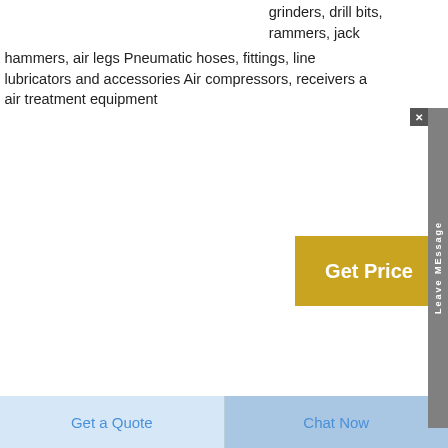grinders, drill bits, rammers, jack hammers, air legs Pneumatic hoses, fittings, line lubricators and accessories Air compressors, receivers a air treatment equipment
[Figure (other): Get Price button with golden/amber background]
[Figure (other): Leave Message sidebar tab in gray]
[Figure (photo): Photo of multiple bronze/brass cylindrical bushings of various sizes arranged in a group]
China Stone Jaw Crusher Equipment Sale Stone Hammer
Hammer crusher
[Figure (other): Circular arrow button pointing upward]
Get a Quote
Chat Now